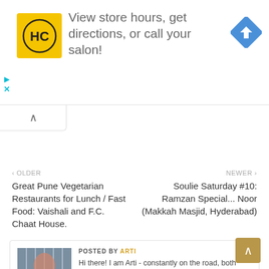[Figure (infographic): Advertisement banner: HC salon logo (yellow square with HC text), text 'View store hours, get directions, or call your salon!', blue diamond direction icon. Play and close controls on left side.]
< OLDER
Great Pune Vegetarian Restaurants for Lunch / Fast Food: Vaishali and F.C. Chaat House.
NEWER >
Soulie Saturday #10: Ramzan Special... Noor (Makkah Masjid, Hyderabad)
POSTED BY ARTI
Hi there! I am Arti - constantly on the road, both figuratively and literally, unwrapping my unique gift called life. My blog, which focuses on spiritual journeys, is all about my love of sharing, exploring and learning; a continuous journey where I strive to seek the truth, discover myself, the world, my place therein and experience the real treasures of life alone